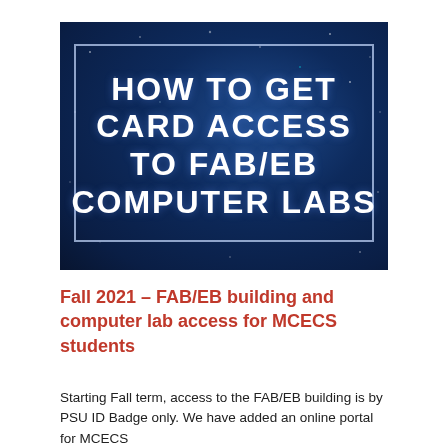[Figure (illustration): Dark blue starry background banner image with bold white text reading 'HOW TO GET CARD ACCESS TO FAB/EB COMPUTER LABS' inside a rectangular border outline.]
Fall 2021 – FAB/EB building and computer lab access for MCECS students
Starting Fall term, access to the FAB/EB building is by PSU ID Badge only. We have added an online portal for MCECS